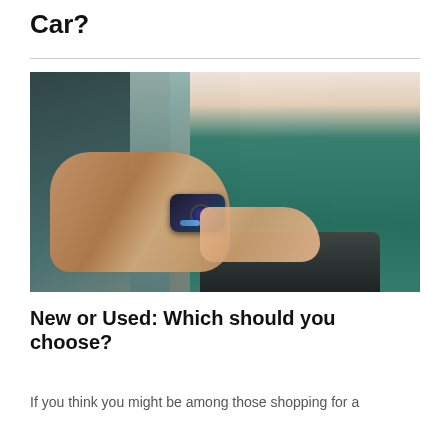Car?
[Figure (photo): A hand holding out a car key fob to a smiling woman in a teal top standing next to a car at a dealership.]
New or Used: Which should you choose?
If you think you might be among those shopping for a